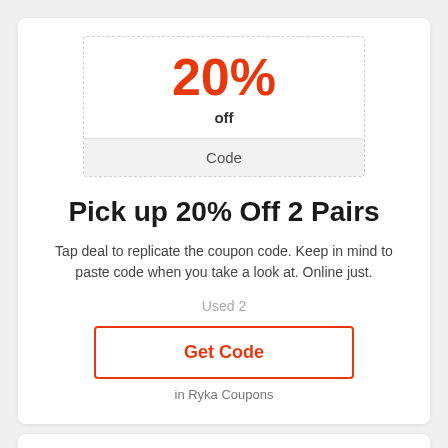20%
off
Code
Pick up 20% Off 2 Pairs
Tap deal to replicate the coupon code. Keep in mind to paste code when you take a look at. Online just.
Used 2
Get Code
in Ryka Coupons
10